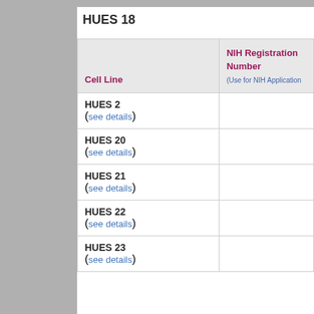HUES 18
| Cell Line | NIH Registration Number (Use for NIH Applications) |
| --- | --- |
| HUES 2 (see details) |  |
| HUES 20 (see details) |  |
| HUES 21 (see details) |  |
| HUES 22 (see details) |  |
| HUES 23 (see details) |  |